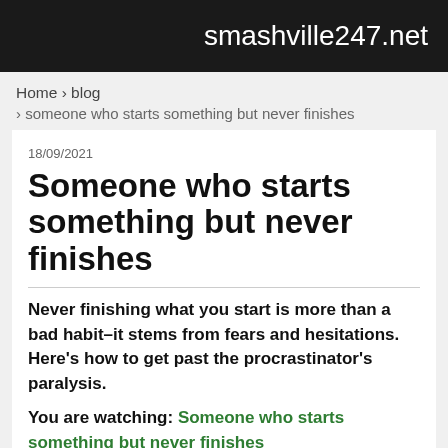smashville247.net
Home › blog › someone who starts something but never finishes
18/09/2021
Someone who starts something but never finishes
Never finishing what you start is more than a bad habit–it stems from fears and hesitations. Here's how to get past the procrastinator's paralysis.
You are watching: Someone who starts something but never finishes